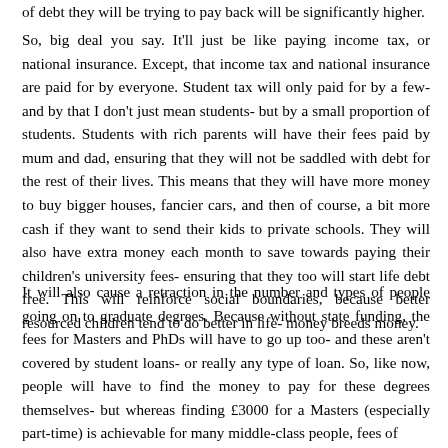of debt they will be trying to pay back will be significantly higher.
So, big deal you say. It'll just be like paying income tax, or national insurance. Except, that income tax and national insurance are paid for by everyone. Student tax will only paid for by a few- and by that I don't just mean students- but by a small proportion of students. Students with rich parents will have their fees paid by mum and dad, ensuring that they will not be saddled with debt for the rest of their lives. This means that they will have more money to buy bigger houses, fancier cars, and then of course, a bit more cash if they want to send their kids to private schools. They will also have extra money each month to save towards paying their children's university fees- ensuring that they too will start life debt free. This will reinforce social boundaries, because better resourced children tend to do better in life- money breeds money.
It will also cause a retraction in the number and types of people going on to graduate degrees. Because without state funding, the fees for Masters and PhDs will have to go up too- and these aren't covered by student loans- or really any type of loan. So, like now, people will have to find the money to pay for these degrees themselves- but whereas finding £3000 for a Masters (especially part-time) is achievable for many middle-class people, fees of